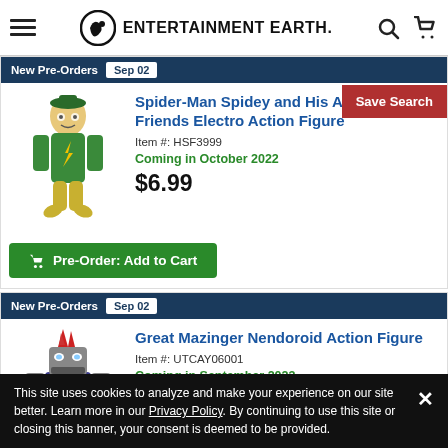Entertainment Earth
New Pre-Orders Sep 02
Save Search
Spider-Man Spidey and His Amazing Friends Electro Action Figure
Item #: HSF3999
Coming in October 2022
$6.99
Pre-Order: Add to Cart
New Pre-Orders Sep 02
Great Mazinger Nendoroid Action Figure
Item #: UTCAY06001
Coming in September 2023
$47.99
This site uses cookies to analyze and make your experience on our site better. Learn more in our Privacy Policy. By continuing to use this site or closing this banner, your consent is deemed to be provided.